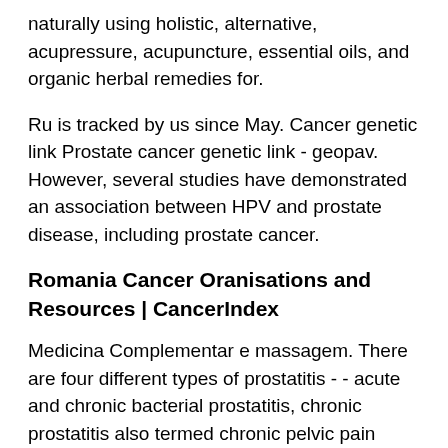naturally using holistic, alternative, acupressure, acupuncture, essential oils, and organic herbal remedies for.
Ru is tracked by us since May. Cancer genetic link Prostate cancer genetic link - geopav. However, several studies have demonstrated an association between HPV and prostate disease, including prostate cancer.
Romania Cancer Oranisations and Resources | CancerIndex
Medicina Complementar e massagem. There are four different types of prostatitis - - acute and chronic bacterial prostatitis, chronic prostatitis also termed chronic pelvic pain syndrome, nonbacterial prostatitis or prostatodynia and asymptomatic inflammatory prostatitis. Le traitement dépend du type de